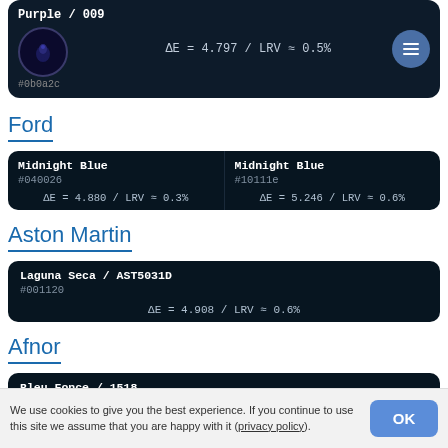[Figure (infographic): Color swatch card for Purple / 009 color #0b0a2c with delta E and LRV values]
Ford
[Figure (infographic): Two color swatch cards side by side: Midnight Blue #040026 (ΔE=4.880/LRV≈0.3%) and Midnight Blue #10111e (ΔE=5.246/LRV≈0.6%)]
Aston Martin
[Figure (infographic): Color swatch card for Laguna Seca / AST5031D color #001120 with ΔE=4.908/LRV≈0.6%]
Afnor
[Figure (infographic): Color swatch card for Bleu Fonce / 1518 color #010b19 with ΔE=5.134/LRV≈0.4%]
We use cookies to give you the best experience. If you continue to use this site we assume that you are happy with it (privacy policy).